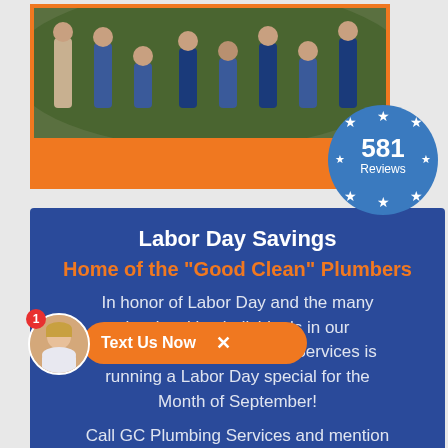[Figure (photo): Team photo of plumbers posing outdoors in front of green bushes, with orange border frame and orange background at bottom. Blue circle badge showing 581 Reviews with stars around it overlaps the bottom-right of the frame.]
Labor Day Savings
Home of the "Good Clean" Plumbers
In honor of Labor Day and the many hardworking individuals in our community, GC Plumbing Services is running a Labor Day special for the Month of September!
Call GC Plumbing Services and mention
[Figure (screenshot): Orange chat widget with avatar photo of blonde woman, red badge showing '1', and Text Us Now button with X close button]